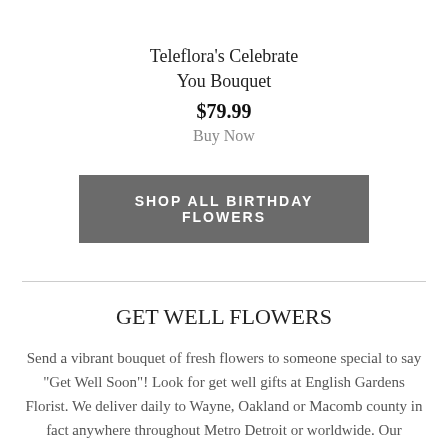Teleflora's Celebrate You Bouquet
$79.99
Buy Now
SHOP ALL BIRTHDAY FLOWERS
GET WELL FLOWERS
Send a vibrant bouquet of fresh flowers to someone special to say "Get Well Soon"! Look for get well gifts at English Gardens Florist. We deliver daily to Wayne, Oakland or Macomb county in fact anywhere throughout Metro Detroit or worldwide. Our Clinton Twp., Dearborn Heights, Royal Oak, and West Bloomfield stores can send the perfect arrangement